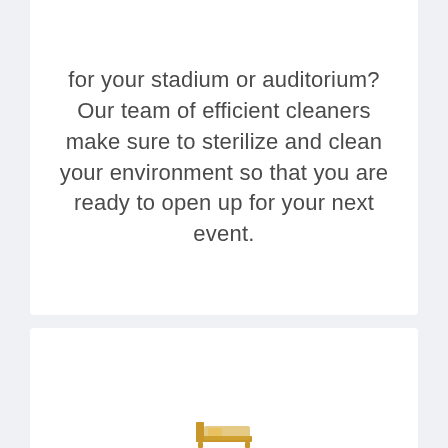for your stadium or auditorium? Our team of efficient cleaners make sure to sterilize and clean your environment so that you are ready to open up for your next event.
[Figure (illustration): A small golden/yellow bed icon visible at the bottom of the page, partially cut off]